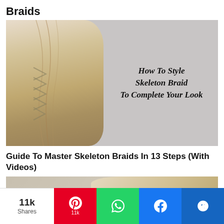Braids
[Figure (photo): Back of a woman's head showing a skeleton/fishtail braid in blonde hair against a grey background, with script text overlay reading 'How To Style Skeleton Braid To Complete Your Look']
Guide To Master Skeleton Braids In 13 Steps (With Videos)
[Figure (photo): Partial image of a woman's hair, cropped at bottom of page]
11k Shares
11k (Pinterest share button)
WhatsApp share button
Facebook share button
MeWe share button